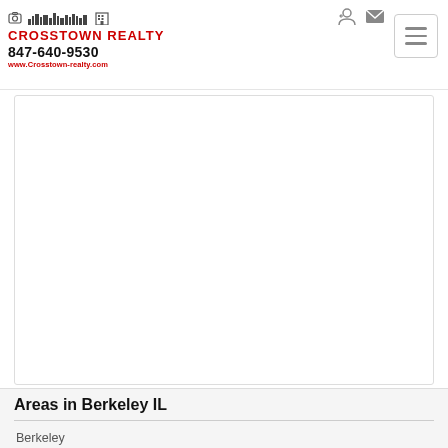[Figure (logo): Crosstown Realty logo with skyline graphic]
CROSSTOWN REALTY
847-640-9530
www.Crosstown-realty.com
[Figure (screenshot): Main content area - white box, mostly blank]
Areas in Berkeley IL
Berkeley